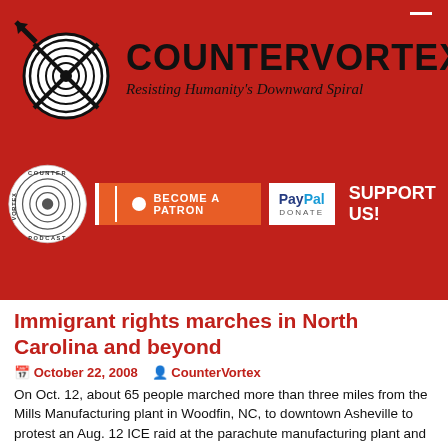[Figure (logo): CounterVortex website header with red background, site logo (circular black and white spiral with arrow), site name COUNTERVORTEX, and subtitle Resisting Humanity's Downward Spiral]
[Figure (logo): CounterVortex Podcast circular logo and support buttons: Become a Patron (Patreon) and PayPal Donate with SUPPORT US! text]
Immigrant rights marches in North Carolina and beyond
October 22, 2008  CounterVortex
On Oct. 12, about 65 people marched more than three miles from the Mills Manufacturing plant in Woodfin, NC, to downtown Asheville to protest an Aug. 12 ICE raid at the parachute manufacturing plant and the impending deportation of the 57 workers arrested there. (See INB, Aug. 16.) The march concluded at the Buncombe County Sheriff's Office. Speakers blasted what they said was overzealous or selective law enforcement by local sheriffs, particularly Van Duncan in Buncombe and Rick Davis in Henderson. Activists also criticized Asheville City Council member